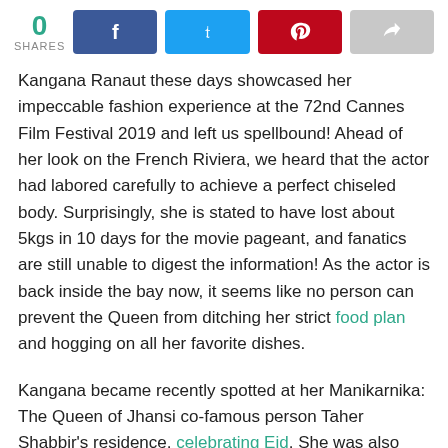[Figure (infographic): Social share bar showing 0 shares, with Facebook (blue), Twitter (light blue), Pinterest (red), and share (grey) buttons]
Kangana Ranaut these days showcased her impeccable fashion experience at the 72nd Cannes Film Festival 2019 and left us spellbound! Ahead of her look on the French Riviera, we heard that the actor had labored carefully to achieve a perfect chiseled body. Surprisingly, she is stated to have lost about 5kgs in 10 days for the movie pageant, and fanatics are still unable to digest the information! As the actor is back inside the bay now, it seems like no person can prevent the Queen from ditching her strict food plan and hogging on all her favorite dishes.
Kangana became recently spotted at her Manikarnika: The Queen of Jhansi co-famous person Taher Shabbir's residence, celebrating Eid. She was also observed by her sister Rangoli Chandel and the images propose that the